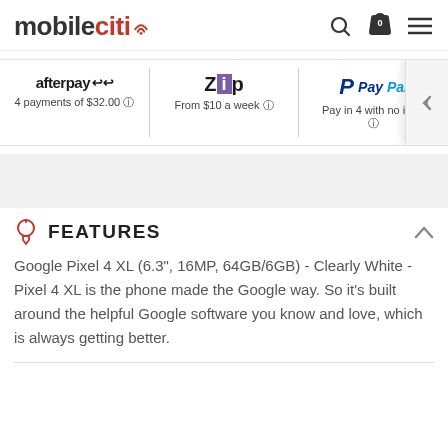[Figure (logo): mobileciti logo with signal/wifi icon in red]
[Figure (infographic): Payment options row: Afterpay (4 payments of $32.00), Zip (From $10 a week), PayPal (Pay in 4 with no int...) with right arrow overlay]
[Figure (other): Gray banner placeholder]
FEATURES
Google Pixel 4 XL (6.3", 16MP, 64GB/6GB) - Clearly White - Pixel 4 XL is the phone made the Google way. So it’s built around the helpful Google software you know and love, which is always getting better.